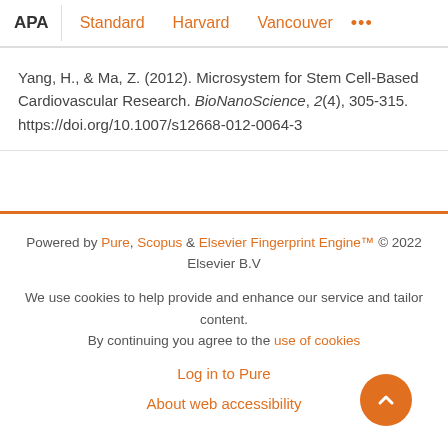APA | Standard | Harvard | Vancouver | ...
Yang, H., & Ma, Z. (2012). Microsystem for Stem Cell-Based Cardiovascular Research. BioNanoScience, 2(4), 305-315. https://doi.org/10.1007/s12668-012-0064-3
Powered by Pure, Scopus & Elsevier Fingerprint Engine™ © 2022 Elsevier B.V
We use cookies to help provide and enhance our service and tailor content. By continuing you agree to the use of cookies
Log in to Pure
About web accessibility